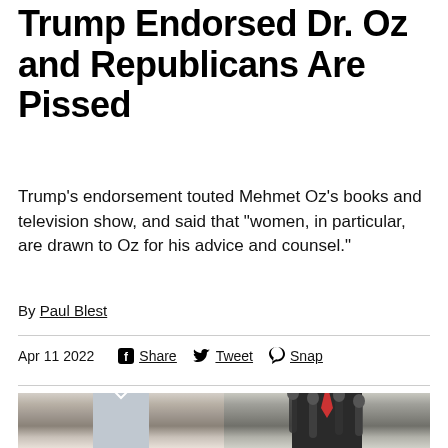Trump Endorsed Dr. Oz and Republicans Are Pissed
Trump's endorsement touted Mehmet Oz's books and television show, and said that “women, in particular, are drawn to Oz for his advice and counsel.”
By Paul Blest
Apr 11 2022   Share   Tweet   Snap
[Figure (photo): Side-by-side photos of Dr. Mehmet Oz (left, smiling) and Donald Trump (right)]